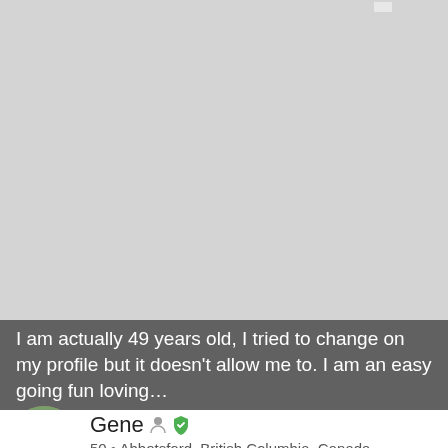[Figure (photo): Light gray background area representing a blurred or unloaded profile photo]
I am actually 49 years old, I tried to change on my profile but it doesn't allow me to. I am an easy going fun loving…
[Figure (photo): Circular avatar photo of Gene, a man wearing sunglasses]
Gene  50 • Abbotsford, British Columbia, Canada